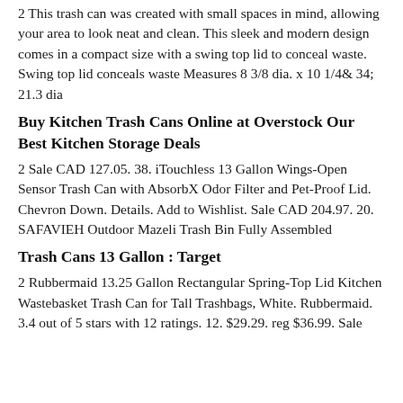2 This trash can was created with small spaces in mind, allowing your area to look neat and clean. This sleek and modern design comes in a compact size with a swing top lid to conceal waste. Swing top lid conceals waste Measures 8 3/8 dia. x 10 1/4& 34; 21.3 dia
Buy Kitchen Trash Cans Online at Overstock Our Best Kitchen Storage Deals
2 Sale CAD 127.05. 38. iTouchless 13 Gallon Wings-Open Sensor Trash Can with AbsorbX Odor Filter and Pet-Proof Lid. Chevron Down. Details. Add to Wishlist. Sale CAD 204.97. 20. SAFAVIEH Outdoor Mazeli Trash Bin Fully Assembled
Trash Cans 13 Gallon : Target
2 Rubbermaid 13.25 Gallon Rectangular Spring-Top Lid Kitchen Wastebasket Trash Can for Tall Trashbags, White. Rubbermaid. 3.4 out of 5 stars with 12 ratings. 12. $29.29. reg $36.99. Sale